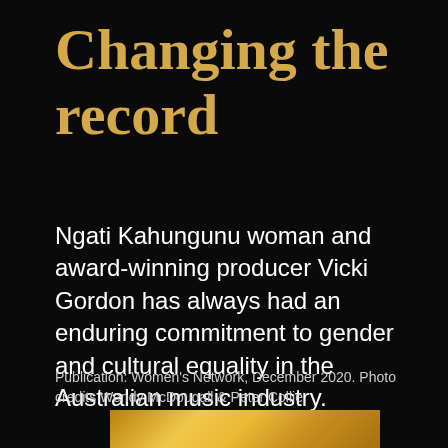Changing the record
Ngati Kahungunu woman and award-winning producer Vicki Gordon has always had an enduring commitment to gender and cultural equality in the Australian music industry.
Publication: Women's Network, December 2020. Photo credits Wendy McDougall & Peter Collie
[Figure (photo): Gold metallic texture bar at the bottom of the page]